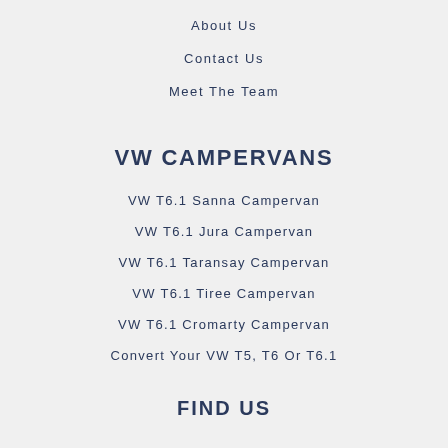About Us
Contact Us
Meet The Team
VW CAMPERVANS
VW T6.1 Sanna Campervan
VW T6.1 Jura Campervan
VW T6.1 Taransay Campervan
VW T6.1 Tiree Campervan
VW T6.1 Cromarty Campervan
Convert Your VW T5, T6 Or T6.1
FIND US